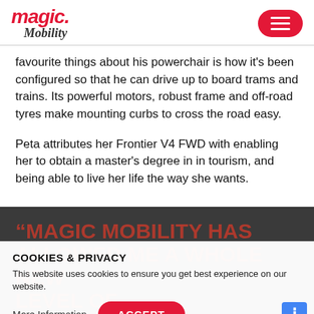magic Mobility
favourite things about his powerchair is how it's been configured so that he can drive up to board trams and trains. Its powerful motors, robust frame and off-road tyres make mounting curbs to cross the road easy.
Peta attributes her Frontier V4 FWD with enabling her to obtain a master's degree in in tourism, and being able to live her life the way she wants.
“MAGIC MOBILITY HAS ALLOWED ME A WHOLE NEW LEVEL OF INDEPENDENCE,” PETA SAYS. “IT GIVES ME FREEDOM AND ENABLES ME TU
COOKIES & PRIVACY
This website uses cookies to ensure you get best experience on our website.
More Information   ACCEPT